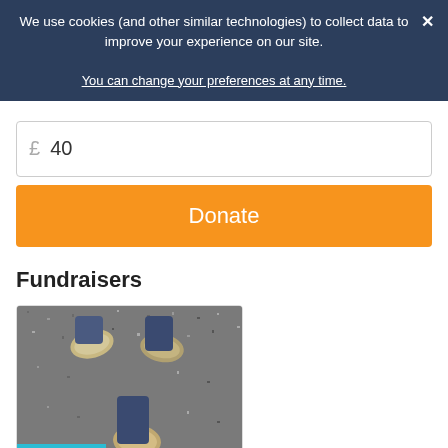We use cookies (and other similar technologies) to collect data to improve your experience on our site.
You can change your preferences at any time.
£ 40
Donate
Fundraisers
[Figure (photo): Two people's feet/shoes standing on pavement, viewed from above, with a teal 'Fundraising' badge overlay at the bottom left]
Climbing Snowdon at Night!